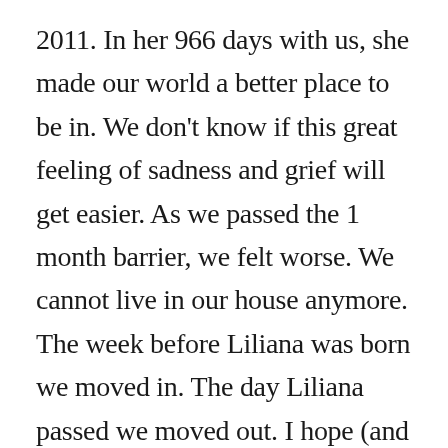2011. In her 966 days with us, she made our world a better place to be in. We don't know if this great feeling of sadness and grief will get easier. As we passed the 1 month barrier, we felt worse. We cannot live in our house anymore. The week before Liliana was born we moved in. The day Liliana passed we moved out. I hope (and pray) that in the coming days, months, years, decades, my wife, older daughter, and I can make it. It is comforting to know that Liliana has many playmates in heaven, including